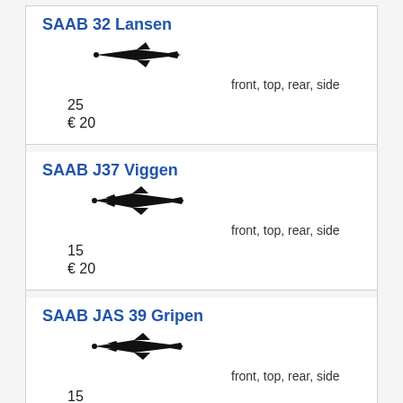SAAB 32 Lansen
[Figure (illustration): Black silhouette of SAAB 32 Lansen jet aircraft viewed from above/side]
front, top, rear, side
25
€ 20
SAAB J37 Viggen
[Figure (illustration): Black silhouette of SAAB J37 Viggen jet aircraft viewed from above/side]
front, top, rear, side
15
€ 20
SAAB JAS 39 Gripen
[Figure (illustration): Black silhouette of SAAB JAS 39 Gripen jet aircraft viewed from above/side]
front, top, rear, side
15